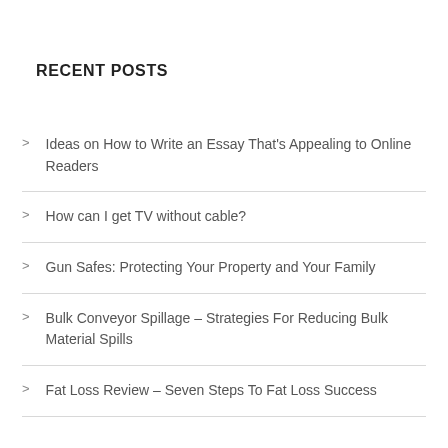RECENT POSTS
Ideas on How to Write an Essay That's Appealing to Online Readers
How can I get TV without cable?
Gun Safes: Protecting Your Property and Your Family
Bulk Conveyor Spillage – Strategies For Reducing Bulk Material Spills
Fat Loss Review – Seven Steps To Fat Loss Success